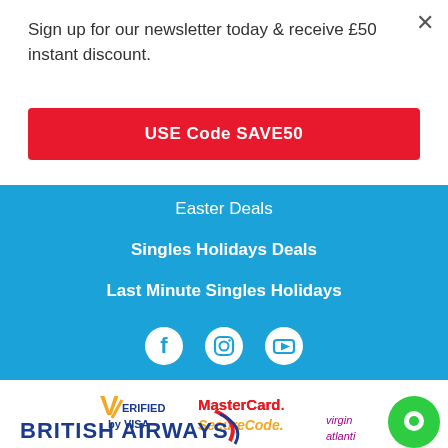Sign up for our newsletter today & receive £50 instant discount.
USE Code SAVE50
Easter Deals
Singles Holidays Deals
Last Minute Singles Holidays
[Figure (logo): Social media icons: Facebook, Instagram, YouTube]
[Figure (logo): Verified by Visa logo]
[Figure (logo): MasterCard SecureCode logo]
[Figure (logo): British Airways logo with red swoosh]
[Figure (logo): Virgin Atlantic logo (partially visible)]